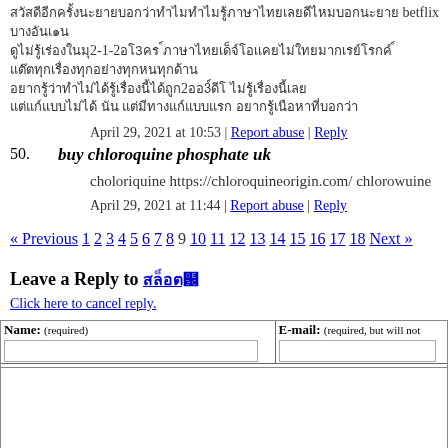[Thai text] betflix [Thai text] 2-1-2 [Thai text] [Thai text continued multiple lines]
April 29, 2021 at 10:53 | Report abuse | Reply
50. buy chloroquine phosphate uk
choloriquine https://chloroquineorigin.com/ chlorowuine
April 29, 2021 at 11:44 | Report abuse | Reply
« Previous 1 2 3 4 5 6 7 8 9 10 11 12 13 14 15 16 17 18 Next »
Leave a Reply to [Thai text]
Click here to cancel reply.
| Name: (required) | E-mail: (required, but will not…) |
| --- | --- |
|  |  |